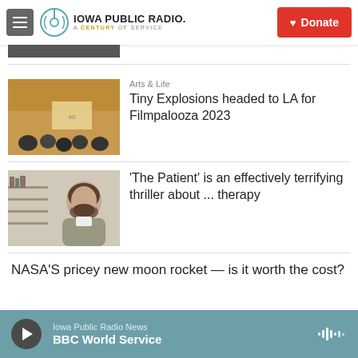Iowa Public Radio — A Century of Service | Donate
[Figure (photo): Partially visible photo at top of page, cut off]
[Figure (photo): Film festival screening room with audience and projected screen showing 40-year logo]
Arts & Life
Tiny Explosions headed to LA for Filmpalooza 2023
[Figure (photo): Man with beard sitting, resembling a therapy scene]
'The Patient' is an effectively terrifying thriller about ... therapy
NASA'S pricey new moon rocket — is it worth the cost?
Iowa Public Radio News — BBC World Service (player bar)